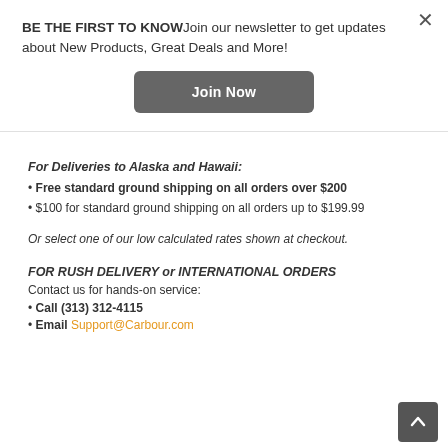BE THE FIRST TO KNOWJoin our newsletter to get updates about New Products, Great Deals and More!
Join Now
For Deliveries to Alaska and Hawaii:
Free standard ground shipping on all orders over $200
$100 for standard ground shipping on all orders up to $199.99
Or select one of our low calculated rates shown at checkout.
FOR RUSH DELIVERY or INTERNATIONAL ORDERS
Contact us for hands-on service:
Call (313) 312-4115
Email Support@Carbour.com